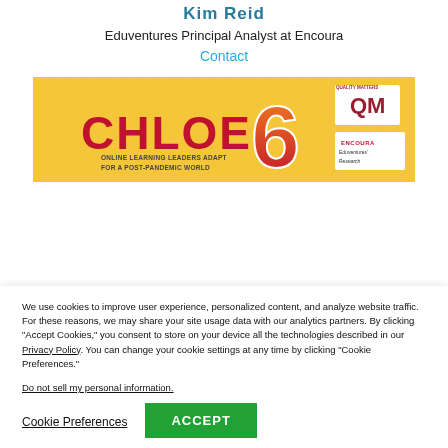Kim Reid
Eduventures Principal Analyst at Encoura
Contact
[Figure (illustration): CHLOE 6 banner image: orange numeral 6, red CHLOE text, subtitle 'ONLINE LEARNING LEADERS ADAPT FOR A POST-PANDEMIC WORLD', QM and Encoura Eduventures Research logos on golden/yellow background]
We use cookies to improve user experience, personalized content, and analyze website traffic. For these reasons, we may share your site usage data with our analytics partners. By clicking “Accept Cookies,” you consent to store on your device all the technologies described in our Privacy Policy. You can change your cookie settings at any time by clicking “Cookie Preferences.”
Do not sell my personal information.
Cookie Preferences
ACCEPT